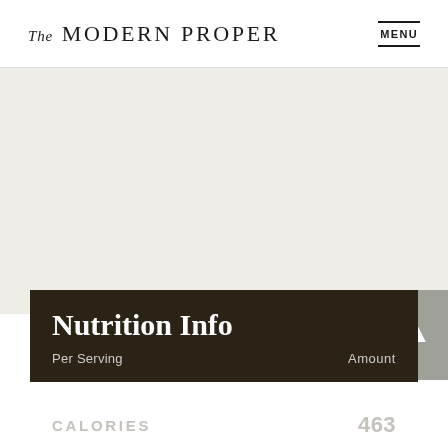The MODERN PROPER    MENU
[Figure (photo): Light grey image area placeholder for a food photograph]
Nutrition Info
| Per Serving | Amount |
| --- | --- |
| CALORIES | 463 |